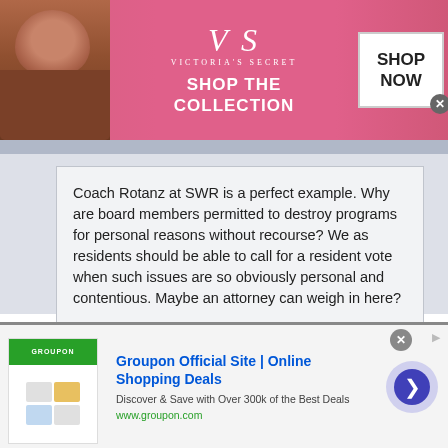[Figure (screenshot): Victoria's Secret advertisement banner with model, logo, 'SHOP THE COLLECTION' text, and 'SHOP NOW' button]
Coach Rotanz at SWR is a perfect example. Why are board members permitted to destroy programs for personal reasons without recourse? We as residents should be able to call for a resident vote when such issues are so obviously personal and contentious. Maybe an attorney can weigh in here?
You do have a resident vote. You voted during school elections to give the board power to make decisions. You get the government you vote for and you have to live with it.
[Figure (screenshot): Groupon Official Site advertisement with logo, tagline 'Discover & Save with Over 300k of the Best Deals', www.groupon.com URL, and arrow button]